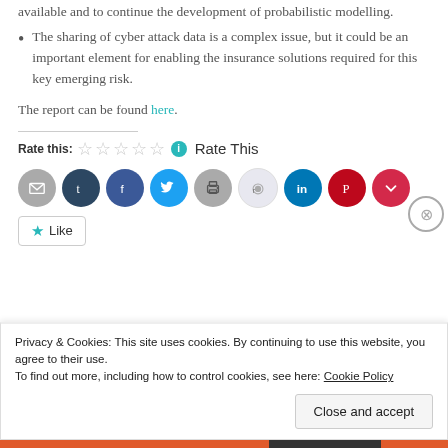available and to continue the development of probabilistic modelling.
The sharing of cyber attack data is a complex issue, but it could be an important element for enabling the insurance solutions required for this key emerging risk.
The report can be found here.
Rate this: ☆☆☆☆☆ ℹ Rate This
[Figure (other): Row of social sharing icon buttons: email, Tumblr, Facebook, Twitter, print, Reddit, LinkedIn, Pinterest, Pocket]
★ Like
Privacy & Cookies: This site uses cookies. By continuing to use this website, you agree to their use. To find out more, including how to control cookies, see here: Cookie Policy
Close and accept